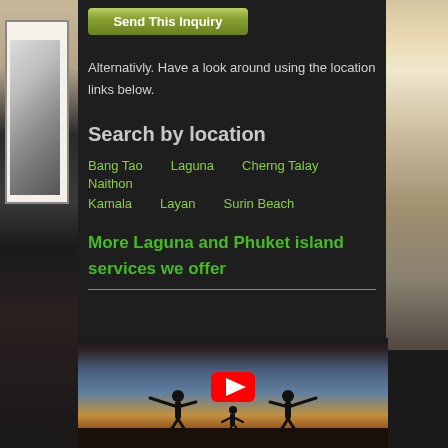Send This Inquiry
Alternativly. Have a look around using the location links below.
Search by location
Bang Tao
Laguna
Cherng Talay
Naithon
Kamala
Layan
Surin Beach
More Laguna and Phuket island services we offer
[Figure (photo): Sunset beach photo with silhouettes of two people with arms outstretched and a YouTube play button overlay]